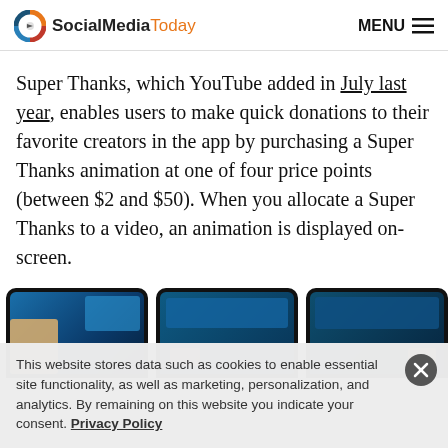SocialMediaToday MENU
Super Thanks, which YouTube added in July last year, enables users to make quick donations to their favorite creators in the app by purchasing a Super Thanks animation at one of four price points (between $2 and $50). When you allocate a Super Thanks to a video, an animation is displayed on-screen.
[Figure (photo): Three smartphone screenshots showing YouTube Super Thanks animation on-screen]
This website stores data such as cookies to enable essential site functionality, as well as marketing, personalization, and analytics. By remaining on this website you indicate your consent. Privacy Policy